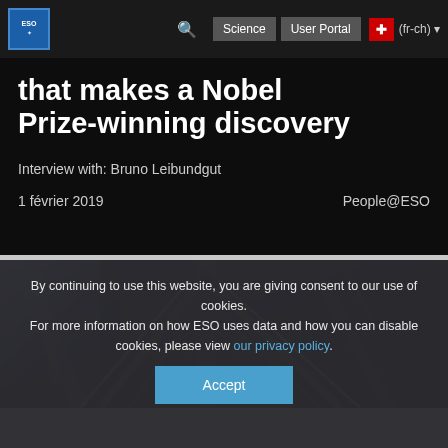ESO | Science | User Portal | (fr-ch)
that makes a Nobel Prize-winning discovery
Interview with: Bruno Leibundgut
1 février 2019   People@ESO
[Figure (photo): Telescope structure photograph showing metallic support frame against a dramatic sky background]
By continuing to use this website, you are giving consent to our use of cookies.
For more information on how ESO uses data and how you can disable cookies, please view our privacy policy.
Accept